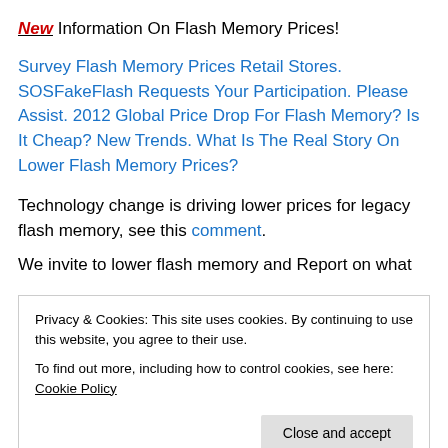New Information On Flash Memory Prices!
Survey Flash Memory Prices Retail Stores. SOSFakeFlash Requests Your Participation. Please Assist. 2012 Global Price Drop For Flash Memory? Is It Cheap? New Trends. What Is The Real Story On Lower Flash Memory Prices?
Technology change is driving lower prices for legacy flash memory, see this comment.
We invite you to use of lower flash memory and Report on what they purchase from an authorized brand name reseller or
Privacy & Cookies: This site uses cookies. By continuing to use this website, you agree to their use.
To find out more, including how to control cookies, see here: Cookie Policy
Close and accept